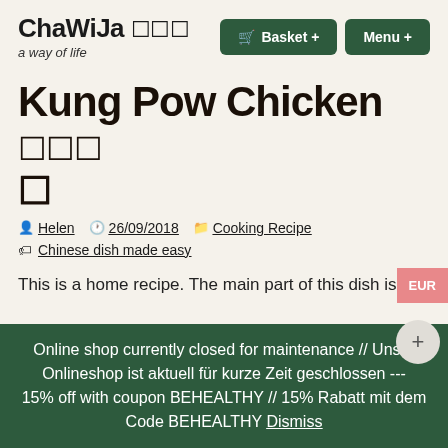ChaWiJa 🌿🌿🌿 a way of life
Kung Pow Chicken 🌶🌶🌶 🍗
Helen  26/09/2018  Cooking Recipe  Chinese dish made easy
This is a home recipe. The main part of this dish is
Online shop currently closed for maintenance // Unser Onlineshop ist aktuell für kurze Zeit geschlossen --- 15% off with coupon BEHEALTHY // 15% Rabatt mit dem Code BEHEALTHY Dismiss